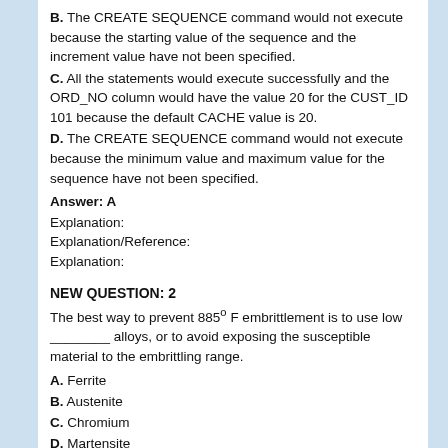B. The CREATE SEQUENCE command would not execute because the starting value of the sequence and the increment value have not been specified.
C. All the statements would execute successfully and the ORD_NO column would have the value 20 for the CUST_ID 101 because the default CACHE value is 20.
D. The CREATE SEQUENCE command would not execute because the minimum value and maximum value for the sequence have not been specified.
Answer: A
Explanation:
Explanation/Reference:
Explanation:
NEW QUESTION: 2
The best way to prevent 885º F embrittlement is to use low ________ alloys, or to avoid exposing the susceptible material to the embrittling range.
A. Ferrite
B. Austenite
C. Chromium
D. Martensite